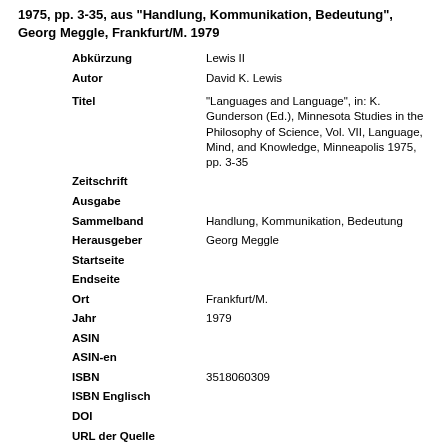1975, pp. 3-35, aus "Handlung, Kommunikation, Bedeutung", Georg Meggle, Frankfurt/M. 1979
| Abkürzung | Lewis II |
| Autor | David K. Lewis |
| Titel | "Languages and Language", in: K. Gunderson (Ed.), Minnesota Studies in the Philosophy of Science, Vol. VII, Language, Mind, and Knowledge, Minneapolis 1975, pp. 3-35 |
| Zeitschrift |  |
| Ausgabe |  |
| Sammelband | Handlung, Kommunikation, Bedeutung |
| Herausgeber | Georg Meggle |
| Startseite |  |
| Endseite |  |
| Ort | Frankfurt/M. |
| Jahr | 1979 |
| ASIN |  |
| ASIN-en |  |
| ISBN | 3518060309 |
| ISBN Englisch |  |
| DOI |  |
| URL der Quelle |  |
| Abfragedatum |  |